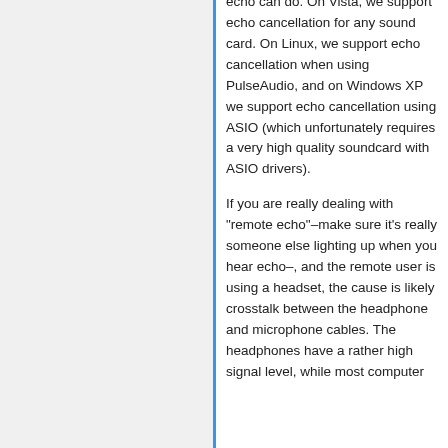echo can do. On Vista, we support echo cancellation for any sound card. On Linux, we support echo cancellation when using PulseAudio, and on Windows XP we support echo cancellation using ASIO (which unfortunately requires a very high quality soundcard with ASIO drivers).
If you are really dealing with "remote echo"–make sure it's really someone else lighting up when you hear echo–, and the remote user is using a headset, the cause is likely crosstalk between the headphone and microphone cables. The headphones have a rather high signal level, while most computer